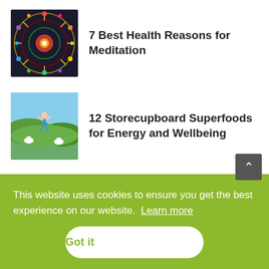[Figure (photo): Colorful mandala-like circular pattern, possibly zodiac or chakra wheel]
7 Best Health Reasons for Meditation
[Figure (photo): Person jumping outdoors in a field with animals, pastoral landscape]
12 Storecupboard Superfoods for Energy and Wellbeing
[Figure (photo): Close-up of a human ear with acupuncture needle]
Using Natural Healing Methods
[Figure (photo): Food/ingredient partial image at bottom]
Everyone Needs to Try
This website uses cookies to ensure you get the best experience on our website.  Learn more
Got it